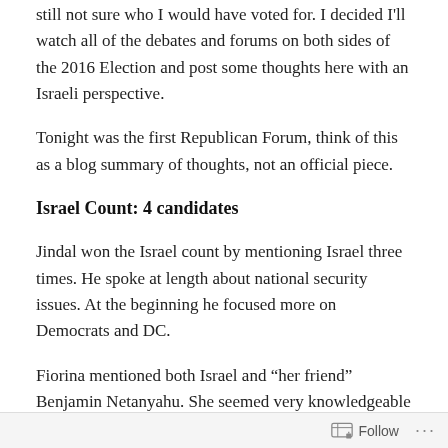still not sure who I would have voted for. I decided I'll watch all of the debates and forums on both sides of the 2016 Election and post some thoughts here with an Israeli perspective.
Tonight was the first Republican Forum, think of this as a blog summary of thoughts, not an official piece.
Israel Count: 4 candidates
Jindal won the Israel count by mentioning Israel three times. He spoke at length about national security issues. At the beginning he focused more on Democrats and DC.
Fiorina mentioned both Israel and “her friend” Benjamin Netanyahu. She seemed very knowledgeable on national security issues, but on domestic issues she remained
Follow ···